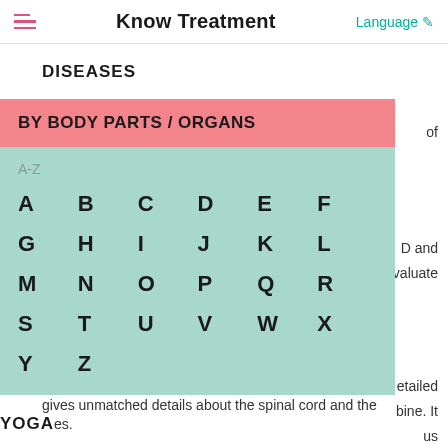Know Treatment
DISEASES
BY BODY PARTS / ORGANS
A-Z
A B C D E F G H I J K L M N O P Q R S T U V W X Y Z
gives unmatched details about the spinal cord and the
YOGA es.